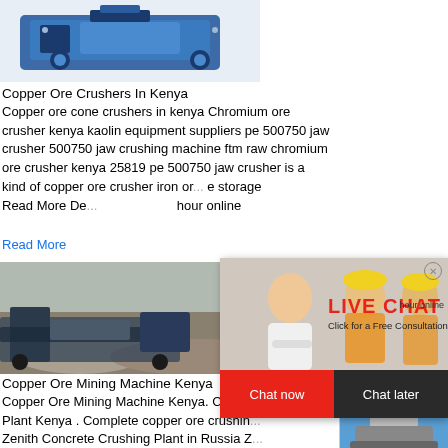[Figure (photo): Blue copper ore crusher machine image at top]
Copper Ore Crushers In Kenya
Copper ore cone crushers in kenya Chromium ore crusher kenya kaolin equipment suppliers pe 500750 jaw crusher 500750 jaw crushing machine ftm raw chromium ore crusher kenya 25819 pe 500750 jaw crusher is a kind of copper ore crusher iron or... e storage Read More De... hour online
Read More
[Figure (photo): Live Chat popup with engineers in hard hats]
[Figure (photo): Copper ore mining site with machinery]
Copper Ore Mining Machine Kenya
Copper Ore Mining Machine Kenya. Coppe... Plant Kenya . Complete copper ore crushin... Zenith Concrete Crushing Plant in Russia Z...
[Figure (photo): Right sidebar with cone crusher machine, Click me to chat, Enquiry, limingjlmofen buttons]